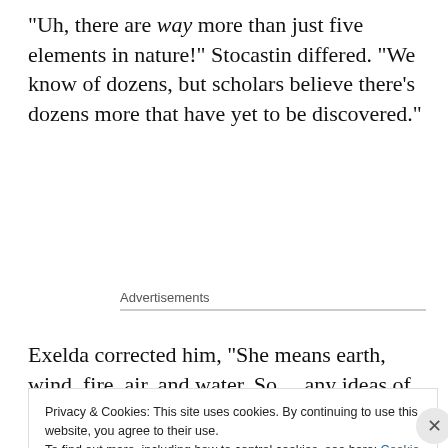“Uh, there are way more than just five elements in nature!” Stocastin differed. “We know of dozens, but scholars believe there’s dozens more that have yet to be discovered.”
Advertisements
Exelda corrected him, “She means earth, wind, fire, air, and water. So… any ideas of where the sympathies put these feathers? Feel free to be as specific as possible!”
Privacy & Cookies: This site uses cookies. By continuing to use this website, you agree to their use.
To find out more, including how to control cookies, see here: Cookie Policy
Close and accept